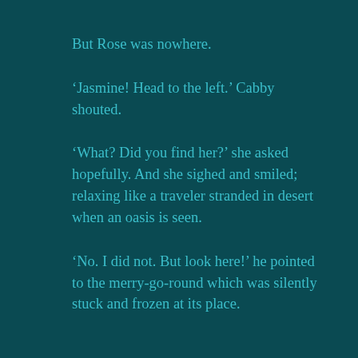But Rose was nowhere.
‘Jasmine! Head to the left.’ Cabby shouted.
‘What? Did you find her?’ she asked hopefully. And she sighed and smiled; relaxing like a traveler stranded in desert when an oasis is seen.
‘No. I did not. But look here!’ he pointed to the merry-go-round which was silently stuck and frozen at its place.